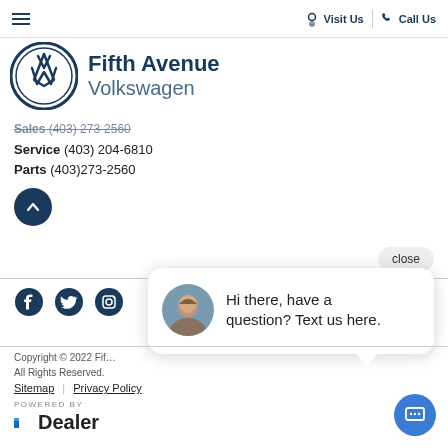Visit Us | Call Us
[Figure (logo): Fifth Avenue Volkswagen logo with VW emblem]
Sales (403) 273-2560
Service (403) 204-6810
Parts (403)273-2560
[Figure (illustration): Scroll to top dark blue circular button with up chevron]
close
[Figure (infographic): Social media icons: Facebook, Twitter, Instagram]
[Figure (photo): Chat widget with avatar photo and text: Hi there, have a question? Text us here.]
Copyright © 2022 Fif... All Rights Reserved.
Sitemap | Privacy Policy
[Figure (logo): POWERED BY EDealer logo]
[Figure (illustration): Blue chat FAB button]